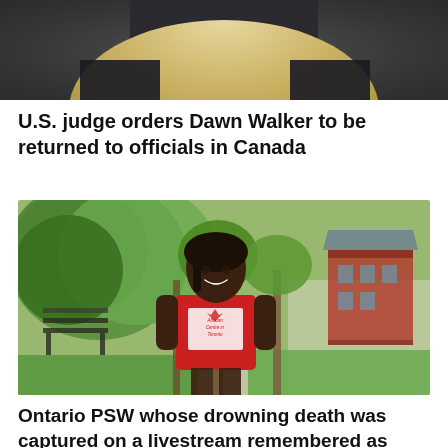[Figure (photo): Partial photo showing top of a person's head with blonde/light hair against a dark background, cropped at top of page]
U.S. judge orders Dawn Walker to be returned to officials in Canada
[Figure (photo): A smiling Black woman wearing a red t-shirt with 'African Centre in Toronto' logo, standing on a sidewalk with trees and a red brick building in the background]
Ontario PSW whose drowning death was captured on a livestream remembered as 'superhero'